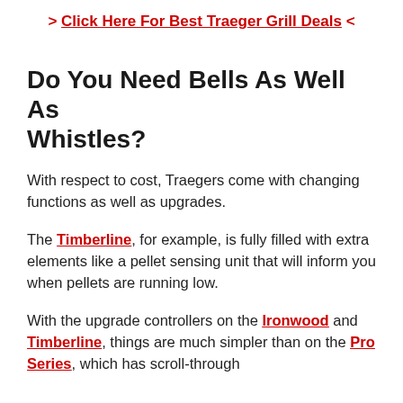> Click Here For Best Traeger Grill Deals <
Do You Need Bells As Well As Whistles?
With respect to cost, Traegers come with changing functions as well as upgrades.
The Timberline, for example, is fully filled with extra elements like a pellet sensing unit that will inform you when pellets are running low.
With the upgrade controllers on the Ironwood and Timberline, things are much simpler than on the Pro Series, which has scroll-through